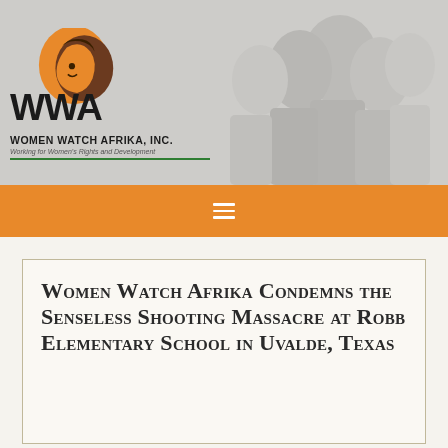[Figure (photo): Grayscale background photo of African women in traditional attire, smiling and celebratory]
[Figure (logo): Women Watch Afrika, Inc. logo featuring stylized profile faces in orange and brown, with large WWA text below and tagline 'Working for Women's Rights and Development' with a green underline]
[Figure (other): Orange navigation bar with white hamburger menu icon (three horizontal lines)]
Women Watch Afrika Condemns the Senseless Shooting Massacre at Robb Elementary School in Uvalde, Texas